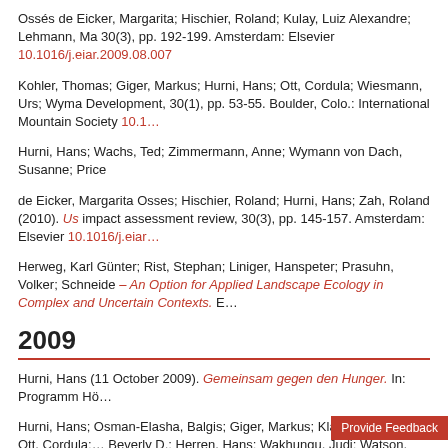Ossés de Eicker, Margarita; Hischier, Roland; Kulay, Luiz Alexandre; Lehmann, Ma... 30(3), pp. 192-199. Amsterdam: Elsevier 10.1016/j.eiar.2009.08.007
Kohler, Thomas; Giger, Markus; Hurni, Hans; Ott, Cordula; Wiesmann, Urs; Wyma... Development, 30(1), pp. 53-55. Boulder, Colo.: International Mountain Society 10.1...
Hurni, Hans; Wachs, Ted; Zimmermann, Anne; Wymann von Dach, Susanne; Price...
de Eicker, Margarita Osses; Hischier, Roland; Hurni, Hans; Zah, Roland (2010). Us... impact assessment review, 30(3), pp. 145-157. Amsterdam: Elsevier 10.1016/j.eiar...
Herweg, Karl Günter; Rist, Stephan; Liniger, Hanspeter; Prasuhn, Volker; Schneide... – An Option for Applied Landscape Ecology in Complex and Uncertain Contexts. E...
2009
Hurni, Hans (11 October 2009). Gemeinsam gegen den Hunger. In: Programm Hö...
Hurni, Hans; Osman-Elasha, Balgis; Giger, Markus; Klaey, Andreas; Ott, Cordula;... Beverly D.; Herren, Hans; Wakhungu, Judi; Watson, Robert T. (eds.) Agriculture at 1-56). Washington: Island Press
Hurni, Hans; Wachs, Ted; Zimmermann, Anne; Wymann von Dach, Susanne; Price...
Gessesse, Gizaw D.; Klik, Andreas; Hurni, Hans (2009). Assessment of soil erosio... economic frame conditions for the sustainable management of natural resources;...